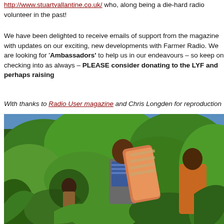http://www.stuartvallantine.co.uk/ who, along being a die-hard radio volunteer in the past!
We have been delighted to receive emails of support from the magazine with updates on our exciting, new developments with Farmer Radio. We are looking for 'Ambassadors' to help us in our endeavours – so keep on checking in to our website as always – PLEASE consider donating to the LYF and perhaps raising
With thanks to Radio User magazine and Chris Longden for reproduction
[Figure (photo): Outdoor photograph of people standing among dense green tropical vegetation. A man in the center wears a striped blue shirt and carries a large orange and beige patterned bag or bundle over his shoulder. Another person in an orange shirt is visible to the right. A third person partially visible in the background left among the foliage. Lush green trees and plants fill the background under a blue sky.]